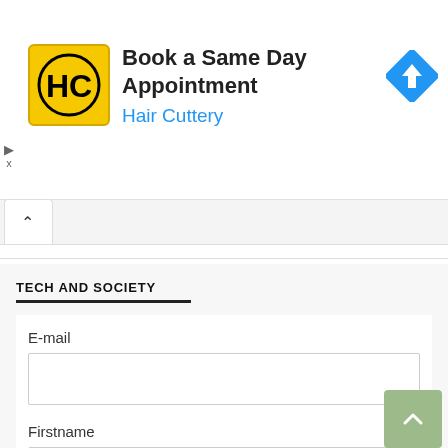[Figure (logo): Hair Cuttery advertisement banner with HC logo on yellow background, text 'Book a Same Day Appointment' and 'Hair Cuttery' in blue, and a blue navigation diamond icon on the right]
TECH AND SOCIETY
E-mail
Firstname
Lastname